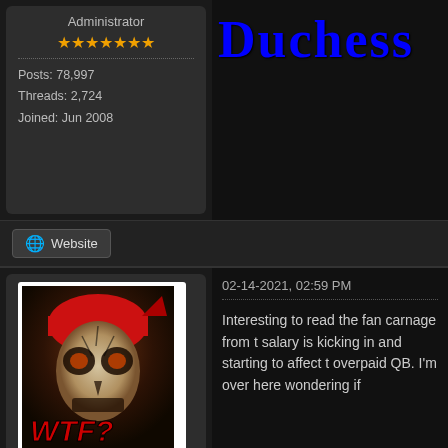Administrator
Posts: 78,997
Threads: 2,724
Joined: Jun 2008
Duchess
Website
[Figure (photo): Avatar image of a person with skull face paint wearing a red bandana, with WTF? text overlay in red]
crash
Mock Elder
Posts: 5,746
Threads: 61
Joined: Jun 2008
02-14-2021, 02:59 PM
Interesting to read the fan carnage from t salary is kicking in and starting to affect t overpaid QB. I'm over here wondering if